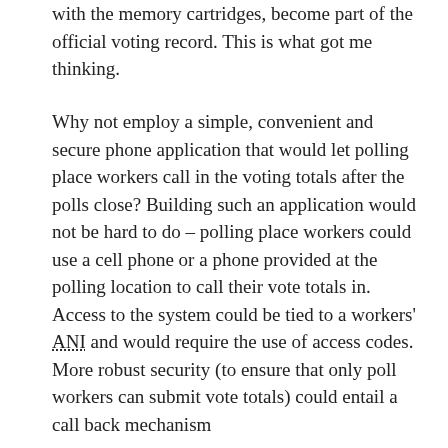with the memory cartridges, become part of the official voting record. This is what got me thinking.
Why not employ a simple, convenient and secure phone application that would let polling place workers call in the voting totals after the polls close? Building such an application would not be hard to do – polling place workers could use a cell phone or a phone provided at the polling location to call their vote totals in. Access to the system could be tied to a workers' ANI and would require the use of access codes. More robust security (to ensure that only poll workers can submit vote totals) could entail a call back mechanism